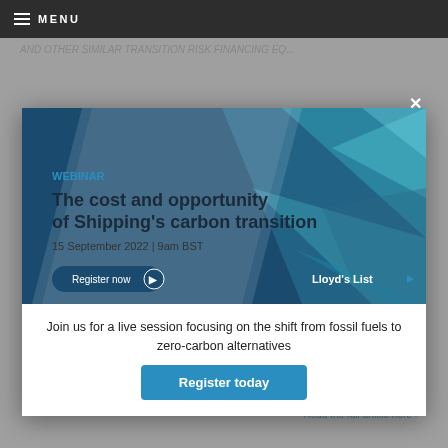MENU
[Figure (screenshot): Webinar advertisement banner for Lloyd's List: 'The cost and opportunity of Shipping's carbon transition', 15 September 2022 | 9am BST, with Register now button and Lloyd's List logo on a blue geometric background]
Join us for a live session focusing on the shift from fossil fuels to zero-carbon alternatives
Register today
capital and equity markets
Read the full article here ›